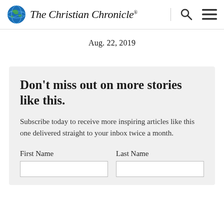The Christian Chronicle® — Aug. 22, 2019
Aug. 22, 2019
Don't miss out on more stories like this.
Subscribe today to receive more inspiring articles like this one delivered straight to your inbox twice a month.
First Name
Last Name